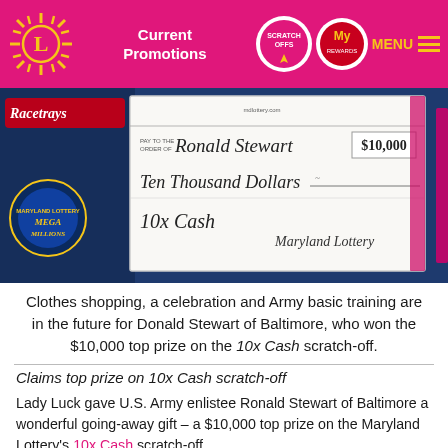Current Promotions | SCRATCH OFFS | My Rewards | MENU
[Figure (photo): A lottery winner holding a large ceremonial check made out to Ronald Stewart for $10,000, from the 10x Cash Maryland Lottery game. The Racetrays and Mega Millions logos are visible in the background.]
Clothes shopping, a celebration and Army basic training are in the future for Donald Stewart of Baltimore, who won the $10,000 top prize on the 10x Cash scratch-off.
Claims top prize on 10x Cash scratch-off
Lady Luck gave U.S. Army enlistee Ronald Stewart of Baltimore a wonderful going-away gift – a $10,000 top prize on the Maryland Lottery's 10x Cash scratch-off.
The 19-year-old found his good fortune while on an errand to buy milk. The loyal Lottery player made another stop at Cherry Hill Liquors in Baltimore, where he purchased a few instant